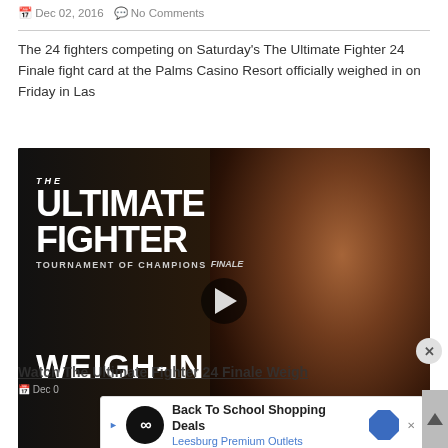Dec 02, 2016   No Comments
The 24 fighters competing on Saturday's The Ultimate Fighter 24 Finale fight card at the Palms Casino Resort officially weighed in on Friday in Las
[Figure (screenshot): Video thumbnail for The Ultimate Fighter Tournament of Champions Finale Weigh-In, showing a male fighter in a dark background with the show logo and WEIGH-IN text, with a play button overlay]
Watch The Ultimate Fighter 24 Finale Weigh
Back To School Shopping Deals Leesburg Premium Outlets